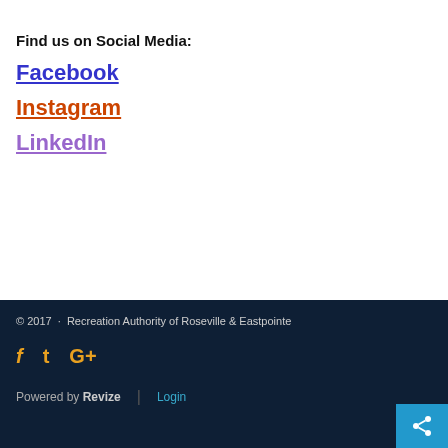Find us on Social Media:
Facebook
Instagram
LinkedIn
© 2017  ·  Recreation Authority of Roseville & Eastpointe
f  t  G+
Powered by Revize  |  Login